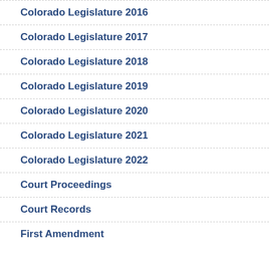Colorado Legislature 2016
Colorado Legislature 2017
Colorado Legislature 2018
Colorado Legislature 2019
Colorado Legislature 2020
Colorado Legislature 2021
Colorado Legislature 2022
Court Proceedings
Court Records
First Amendment